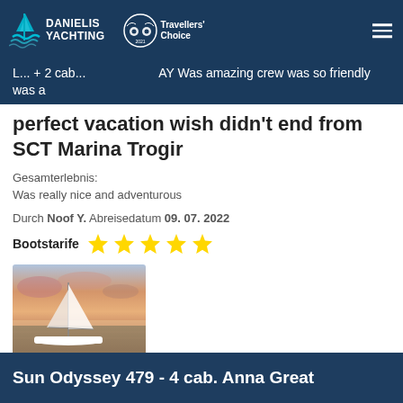[Figure (logo): Danielis Yachting logo with teal sailboat icon and white text, plus TripAdvisor Travellers Choice 2021 badge, on dark blue header bar]
L... + 2 cab... ...AY Was amazing crew was so friendly was a perfect vacation wish didn't end from SCT Marina Trogir
Gesamterlebnis:
Was really nice and adventurous
Durch Noof Y. Abreisedatum 09. 07. 2022
Bootstarife ★★★★★
[Figure (photo): White catamaran sailing boat on calm water at sunset with pink and orange sky]
Sun Odyssey 479 - 4 cab. Anna Great